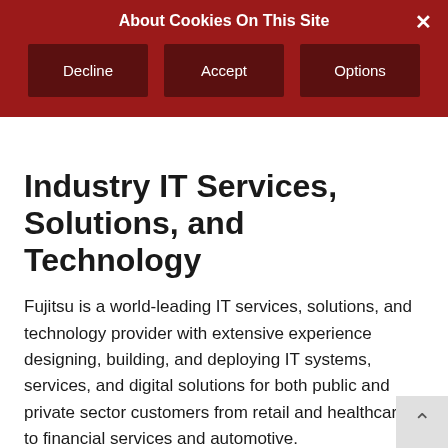About Cookies On This Site
Decline | Accept | Options
Industry IT Services, Solutions, and Technology
Fujitsu is a world-leading IT services, solutions, and technology provider with extensive experience designing, building, and deploying IT systems, services, and digital solutions for both public and private sector customers from retail and healthcare to financial services and automotive.
For over 50 years we have been at the forefront of technical innovation, investing $billions in research and development every year to ensure that we remain at the cutting edge of innovation for our customers.